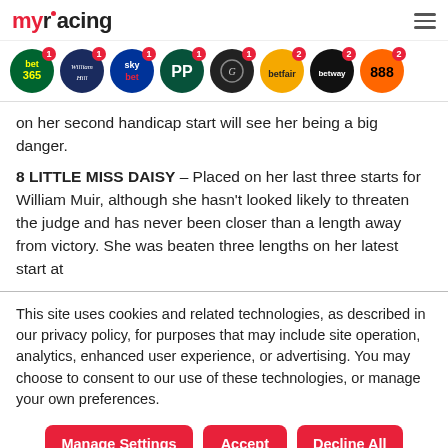myracing
[Figure (other): Row of bookmaker logos with notification badges: bet365 (1), William Hill (1), skybet (1), PP (1), G/sport (1), betfair (2), betway (2), 888 (2)]
on her second handicap start will see her being a big danger.
8 LITTLE MISS DAISY – Placed on her last three starts for William Muir, although she hasn't looked likely to threaten the judge and has never been closer than a length away from victory. She was beaten three lengths on her latest start at
This site uses cookies and related technologies, as described in our privacy policy, for purposes that may include site operation, analytics, enhanced user experience, or advertising. You may choose to consent to our use of these technologies, or manage your own preferences.